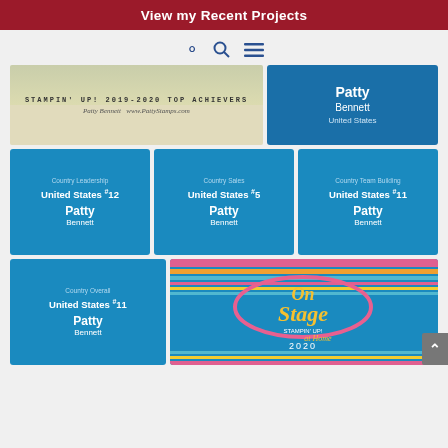View my Recent Projects
[Figure (screenshot): Stampin' Up! 2019-2020 Top Achievers banner with Patty Bennett www.PattyStamps.com]
[Figure (infographic): Name card: Patty Bennett, United States]
[Figure (infographic): Country Leadership – United States #12 – Patty Bennett]
[Figure (infographic): Country Sales – United States #5 – Patty Bennett]
[Figure (infographic): Country Team Building – United States #11 – Patty Bennett]
[Figure (infographic): Country Overall – United States #11 – Patty Bennett]
[Figure (logo): On Stage Stampin' Up! at Home 2020 logo on decorative blue background with colorful stripes]